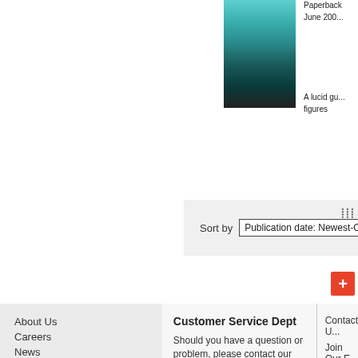[Figure (photo): Book cover with teal/dark ocean-like gradient texture]
Paperback
June 200...
A lucid gu... figures
Sort by  Publication date: Newest-Oldest
About Us
Careers
News
Academic
Journals
Online Products & Publishing
Dictionaries & Reference
Customer Service Dept
Should you have a question or problem, please contact our Customer Service Department.
Monday - Friday,
8:00 am - 6:00 pm (EST).
custserv.us@oup.com
Phone: 1-800-445-9714
Contact U...
Join Our E...